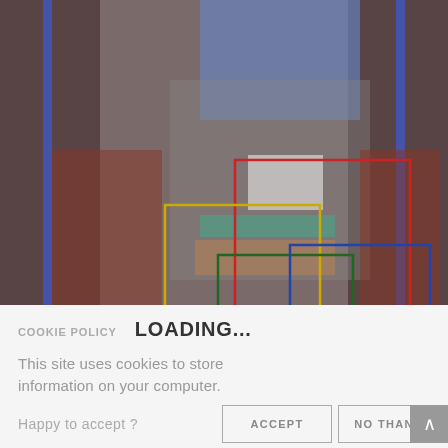[Figure (screenshot): Fashion runway photo of a model wearing colorful patterned dress, with overlapping colored rectangles (red, yellow/gold, green, blue) drawn over the image as annotation boxes. Blue vertical strips frame the photo on both sides.]
COOKIE POLICY   LOADING...
This site uses cookies to store information on your computer.
Happy to accept ?
ACCEPT
NO THANKS